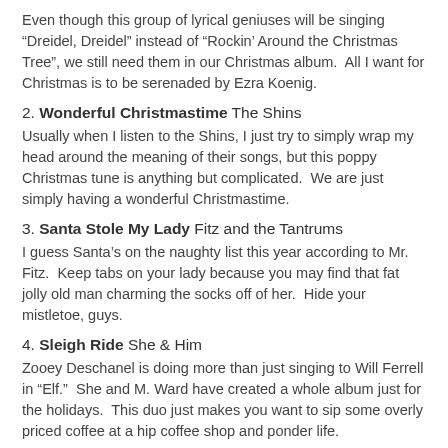Even though this group of lyrical geniuses will be singing "Dreidel, Dreidel" instead of “Rockin’ Around the Christmas Tree”, we still need them in our Christmas album.  All I want for Christmas is to be serenaded by Ezra Koenig.
2. Wonderful Christmastime The Shins
Usually when I listen to the Shins, I just try to simply wrap my head around the meaning of their songs, but this poppy Christmas tune is anything but complicated.  We are just simply having a wonderful Christmastime.
3. Santa Stole My Lady Fitz and the Tantrums
I guess Santa’s on the naughty list this year according to Mr. Fitz.  Keep tabs on your lady because you may find that fat jolly old man charming the socks off of her.  Hide your mistletoe, guys.
4. Sleigh Ride She & Him
Zooey Deschanel is doing more than just singing to Will Ferrell in “Elf.”  She and M. Ward have created a whole album just for the holidays.  This duo just makes you want to sip some overly priced coffee at a hip coffee shop and ponder life.